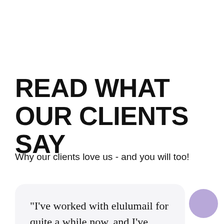READ WHAT OUR CLIENTS SAY
Why our clients love us - and you will too!
"I've worked with elulumail for quite a while now, and I've never seen such great email marketing work. Their
[Figure (illustration): A purple circular button with a pointing hand emoji icon in the bottom right corner]